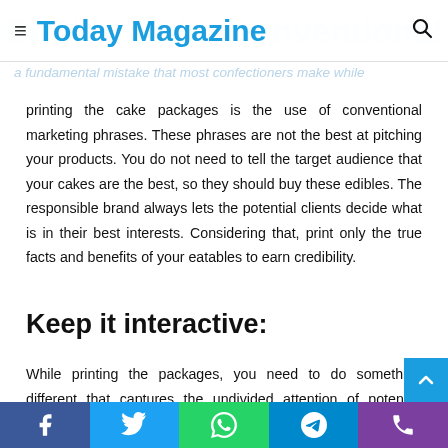Today Magazine
a fundamental mistake that most confectioners make while printing the cake packages is the use of conventional marketing phrases. These phrases are not the best at pitching your products. You do not need to tell the target audience that your cakes are the best, so they should buy these edibles. The responsible brand always lets the potential clients decide what is in their best interests. Considering that, print only the true facts and benefits of your eatables to earn credibility.
Keep it interactive:
While printing the packages, you need to do something different that captures the undivided attention of potential clients. One such approach is using printing to add a visual
Facebook Twitter WhatsApp Telegram Phone